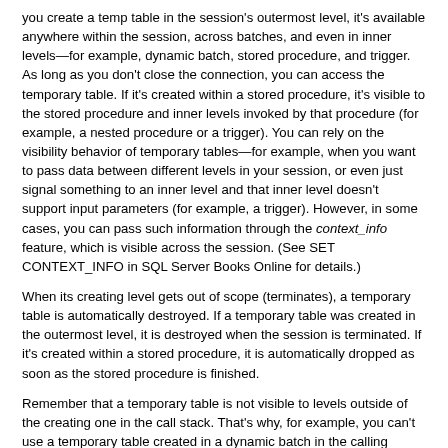you create a temp table in the session's outermost level, it's available anywhere within the session, across batches, and even in inner levels—for example, dynamic batch, stored procedure, and trigger. As long as you don't close the connection, you can access the temporary table. If it's created within a stored procedure, it's visible to the stored procedure and inner levels invoked by that procedure (for example, a nested procedure or a trigger). You can rely on the visibility behavior of temporary tables—for example, when you want to pass data between different levels in your session, or even just signal something to an inner level and that inner level doesn't support input parameters (for example, a trigger). However, in some cases, you can pass such information through the context_info feature, which is visible across the session. (See SET CONTEXT_INFO in SQL Server Books Online for details.)
When its creating level gets out of scope (terminates), a temporary table is automatically destroyed. If a temporary table was created in the outermost level, it is destroyed when the session is terminated. If it's created within a stored procedure, it is automatically dropped as soon as the stored procedure is finished.
Remember that a temporary table is not visible to levels outside of the creating one in the call stack. That's why, for example, you can't use a temporary table created in a dynamic batch in the calling batch. When the dynamic batch is out of scope, the temporary table is gone. Later in the chapter, I'll suggest alternatives to use when such a need occurs. The next part, regarding the scope, is a bit tricky. You can, in fact, create multiple temporary tables with the same name within the same session, as long as you create them in different levels—although doing so might